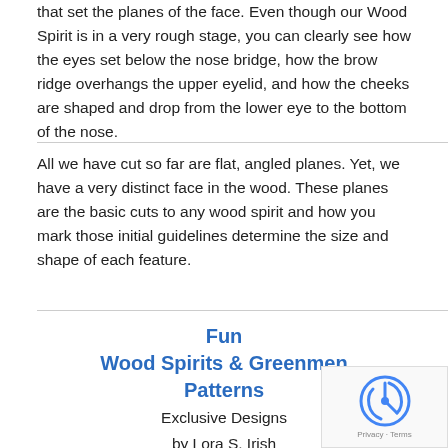that set the planes of the face. Even though our Wood Spirit is in a very rough stage, you can clearly see how the eyes set below the nose bridge, how the brow ridge overhangs the upper eyelid, and how the cheeks are shaped and drop from the lower eye to the bottom of the nose.
All we have cut so far are flat, angled planes. Yet, we have a very distinct face in the wood. These planes are the basic cuts to any wood spirit and how you mark those initial guidelines determine the size and shape of each feature.
Fun Wood Spirits & Greenmen Patterns
Exclusive Designs
by Lora S. Irish
14 Line Art Patterns